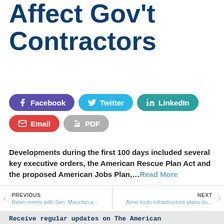Affect Gov't Contractors
[Figure (other): Social share buttons: Facebook, Twitter, LinkedIn, Email, PDF]
Developments during the first 100 days included several key executive orders, the American Rescue Plan Act and the proposed American Jobs Plan,…Read More
PREVIOUS Biden meets with Sen. Manchin a... | NEXT Axne touts infrastructure plans du...
Receive regular updates on The American Jobs Act & Federal Funding News.
Email